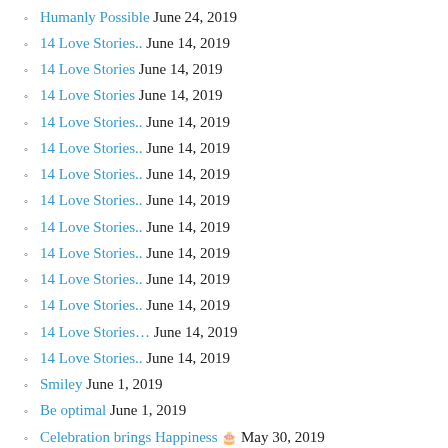Humanly Possible June 24, 2019
14 Love Stories.. June 14, 2019
14 Love Stories June 14, 2019
14 Love Stories June 14, 2019
14 Love Stories.. June 14, 2019
14 Love Stories.. June 14, 2019
14 Love Stories.. June 14, 2019
14 Love Stories.. June 14, 2019
14 Love Stories.. June 14, 2019
14 Love Stories.. June 14, 2019
14 Love Stories.. June 14, 2019
14 Love Stories.. June 14, 2019
14 Love Stories… June 14, 2019
14 Love Stories.. June 14, 2019
Smiley June 1, 2019
Be optimal June 1, 2019
Celebration brings Happiness 🎂 May 30, 2019